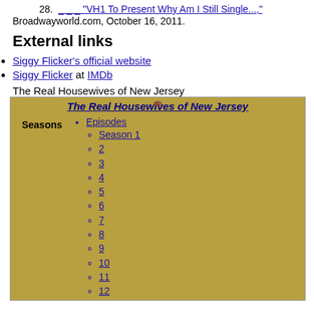28. [link] "VH1 To Present Why Am I Still Single...", Broadwayworld.com, October 16, 2011.
External links
Siggy Flicker's official website
Siggy Flicker at IMDb
The Real Housewives of New Jersey
[Figure (other): Wikipedia navigation box for The Real Housewives of New Jersey, showing Episodes (Season 1 through 12) under Seasons sidebar]